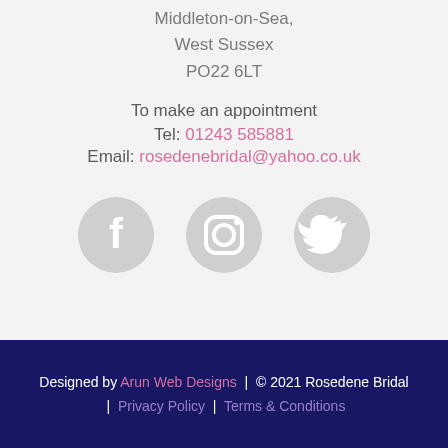Middleton-on-Sea,
West Sussex
PO22 6LT
To make an appointment
Tel: 01243 585881
Email: rosedenebridal@yahoo.co.uk
[Figure (illustration): Three circular social media icons (Facebook, Instagram, Twitter) in light grey]
Designed by Arun Web Designs | © 2021 Rosedene Bridal | Privacy Policy | Terms & Conditions